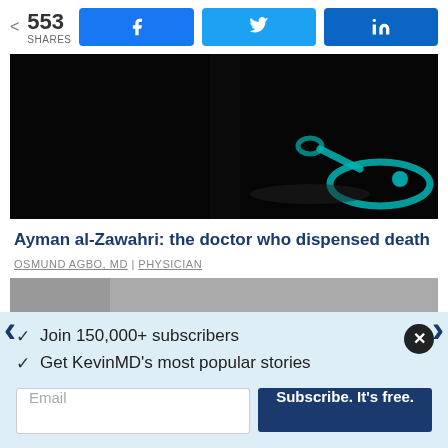553 SHARES | Facebook | Twitter | LinkedIn
[Figure (photo): Dark background photo of a teal stethoscope on a dark surface]
Ayman al-Zawahri: the doctor who dispensed death
OSMUND AGBO, MD | PHYSICIAN
✓  Join 150,000+ subscribers
✓  Get KevinMD's most popular stories
Email  Subscribe. It's free.